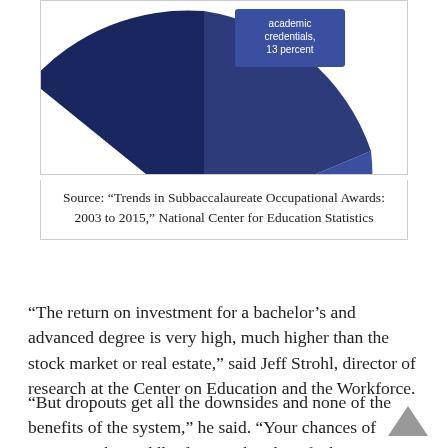[Figure (pie-chart): Partial pie chart visible at top of page, showing a dark blue/navy segment labeled 'academic credentials, 13 percent']
Source: “Trends in Subbaccalaureate Occupational Awards: 2003 to 2015,” National Center for Education Statistics
“The return on investment for a bachelor’s and advanced degree is very high, much higher than the stock market or real estate,” said Jeff Strohl, director of research at the Center on Education and the Workforce.
“But dropouts get all the downsides and none of the benefits of the system,” he said. “Your chances of accessing the middle class — the idea of education as the great equalizer — are taken away.”